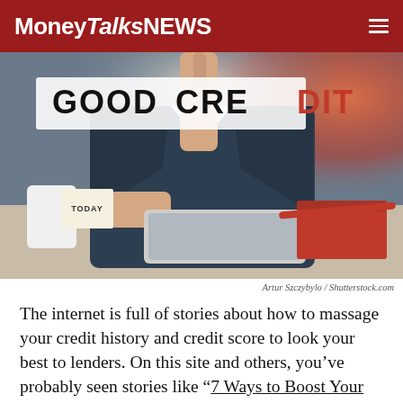MoneyTalksNews
[Figure (photo): Person in suit pointing finger upward at glowing text 'GOOD CREDIT', with coffee mug, sticky note reading 'TODAY', tablet, and red notebook on desk]
Artur Szczybylo / Shutterstock.com
The internet is full of stories about how to massage your credit history and credit score to look your best to lenders. On this site and others, you've probably seen stories like “7 Ways to Boost Your Credit Score Fast”